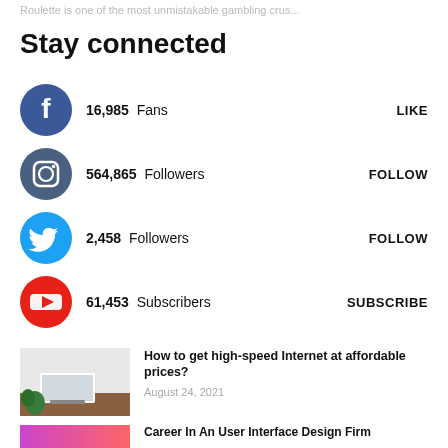Roulette is one of the most unmistakable gambling crus...
Stay connected
16,985 Fans  LIKE
564,865 Followers  FOLLOW
2,458 Followers  FOLLOW
61,453 Subscribers  SUBSCRIBE
[Figure (photo): TV on white stand with plant, home interior]
How to get high-speed Internet at affordable prices?
August 24, 2021
[Figure (photo): Purple/pink gradient career article thumbnail]
Career In An User Interface Design Firm